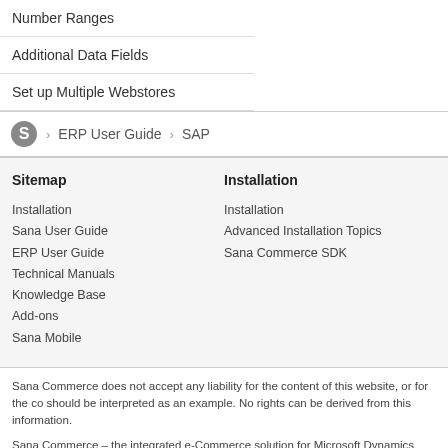Number Ranges
Additional Data Fields
Set up Multiple Webstores
ERP User Guide > SAP
Sitemap
Installation
Sana User Guide
ERP User Guide
Technical Manuals
Knowledge Base
Add-ons
Sana Mobile
Installation
Installation
Advanced Installation Topics
Sana Commerce SDK
Sana Commerce does not accept any liability for the content of this website, or for the co should be interpreted as an example. No rights can be derived from this information.
Sana Commerce – the integrated e-Commerce solution for Microsoft Dynamics and SAP
© 2018 Sana Commerce. All rights reserved | Updated: January 2017